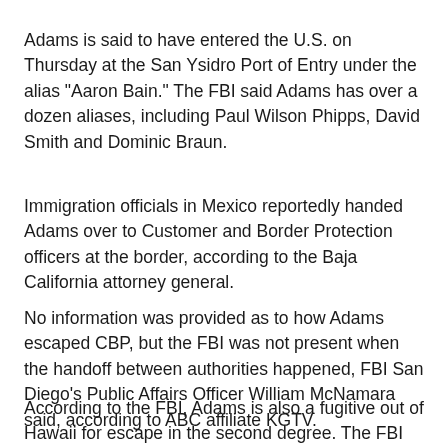Adams is said to have entered the U.S. on Thursday at the San Ysidro Port of Entry under the alias "Aaron Bain." The FBI said Adams has over a dozen aliases, including Paul Wilson Phipps, David Smith and Dominic Braun.
Immigration officials in Mexico reportedly handed Adams over to Customer and Border Protection officers at the border, according to the Baja California attorney general.
No information was provided as to how Adams escaped CBP, but the FBI was not present when the handoff between authorities happened, FBI San Diego's Public Affairs Officer William McNamara said, according to ABC affiliate KGTV.
According to the FBI, Adams is also a fugitive out of Hawaii for escape in the second degree. The FBI describes Adams as white, 5 feet, 9 inches and weighs